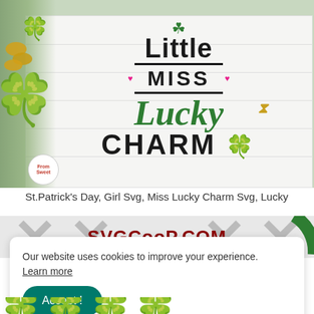[Figure (photo): St. Patrick's Day SVG design showing 'Little Miss Lucky Charm' text with clovers, hearts, and horseshoe on a white shiplap background with gold coins and green clovers on the left side. A small logo is visible in the bottom-left corner.]
St.Patrick's Day, Girl Svg, Miss Lucky Charm Svg, Lucky
[Figure (screenshot): Website banner showing SVGCooP.COM in bold dark red text on a light background with X patterns and a green circular shape on the right.]
Our website uses cookies to improve your experience. Learn more
Accept !